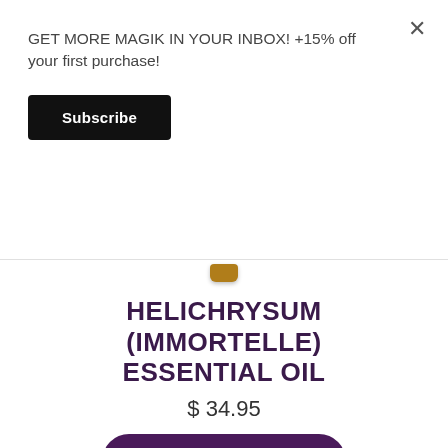GET MORE MAGIK IN YOUR INBOX! +15% off your first purchase!
Subscribe
[Figure (other): Top of a small dark amber essential oil bottle cap peeking into view]
HELICHRYSUM (IMMORTELLE) ESSENTIAL OIL
$ 34.95
ADD TO CART
LAVENDER